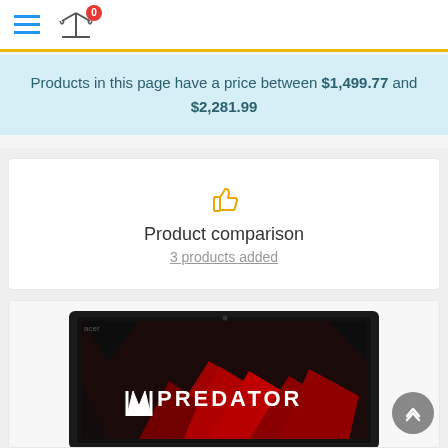Navigation header with hamburger menu and comparison icon with badge 0
Products in this page have a price between $1,499.77 and $2,281.99
Product comparison
3 products added
[Figure (photo): Acer Predator gaming laptop with red and black geometric design on display screen, showing the Predator logo]